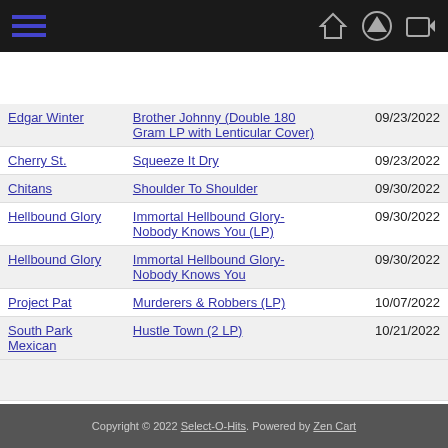Navigation bar with hamburger menu and home/up/login icons
| Artist | Title | Date |
| --- | --- | --- |
| Edgar Winter | Brother Johnny (Double 180 Gram LP with Lenticular Cover) | 09/23/2022 |
| Cherry St. | Squeeze It Dry | 09/23/2022 |
| Chitans | Shoulder To Shoulder | 09/30/2022 |
| Hellbound Glory | Immortal Hellbound Glory- Nobody Knows You (LP) | 09/30/2022 |
| Hellbound Glory | Immortal Hellbound Glory- Nobody Knows You | 09/30/2022 |
| Project Pat | Murderers & Robbers (LP) | 10/07/2022 |
| South Park Mexican | Hustle Town (2 LP) | 10/21/2022 |
Copyright © 2022 Select-O-Hits. Powered by Zen Cart